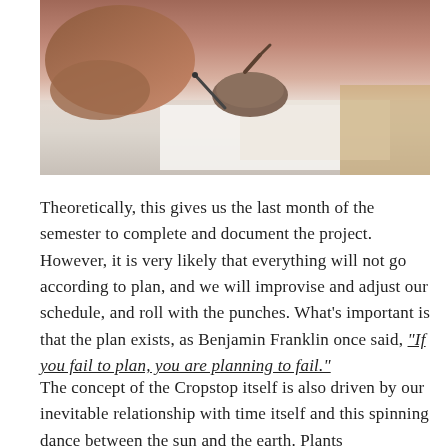[Figure (photo): A photo of a person writing at a desk with papers and what appears to be a leather accessory or pen holder on the table surface.]
Theoretically, this gives us the last month of the semester to complete and document the project. However, it is very likely that everything will not go according to plan, and we will improvise and adjust our schedule, and roll with the punches. What's important is that the plan exists, as Benjamin Franklin once said, "If you fail to plan, you are planning to fail."
The concept of the Cropstop itself is also driven by our inevitable relationship with time itself and this spinning dance between the sun and the earth. Plants